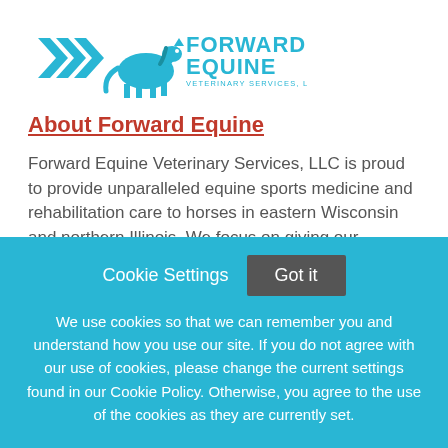[Figure (logo): Forward Equine Veterinary Services, LLC logo — teal/blue horse and chevron arrows graphic with text 'FORWARD EQUINE VETERINARY SERVICES, LLC']
About Forward Equine
Forward Equine Veterinary Services, LLC is proud to provide unparalleled equine sports medicine and rehabilitation care to horses in eastern Wisconsin and northern Illinois. We focus on giving our patients highly individualized care, from the diagnostic process through
Cookie Settings   Got it
We use cookies so that we can remember you and understand how you use our site. If you do not agree with our use of cookies, please change the current settings found in our Cookie Policy. Otherwise, you agree to the use of the cookies as they are currently set.